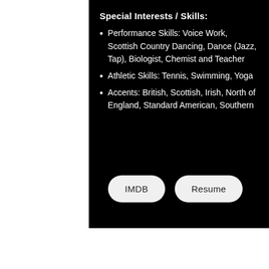Special Interests / Skills:
Performance Skills: Voice Work, Scottish Country Dancing, Dance (Jazz, Tap), Biologist, Chemist and Teacher
Athletic Skills: Tennis, Swimming, Yoga
Accents: British, Scottish, Irish, North of England, Standard American, Southern
IMDB
Resume